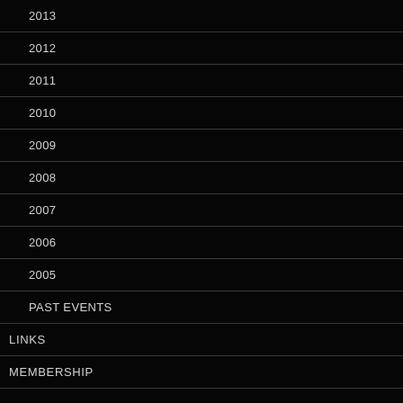2013
2012
2011
2010
2009
2008
2007
2006
2005
PAST EVENTS
LINKS
MEMBERSHIP